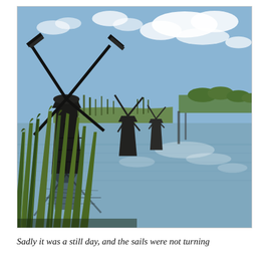[Figure (photo): A photograph of Dutch windmills at Kinderdijk. A large dark windmill stands prominently on the left, with smaller windmills visible in the background along a canal. Green reeds grow in the foreground. The calm water reflects the windmills and a partly cloudy blue sky. Lush green reed grass fills the lower foreground.]
Sadly it was a still day, and the sails were not turning